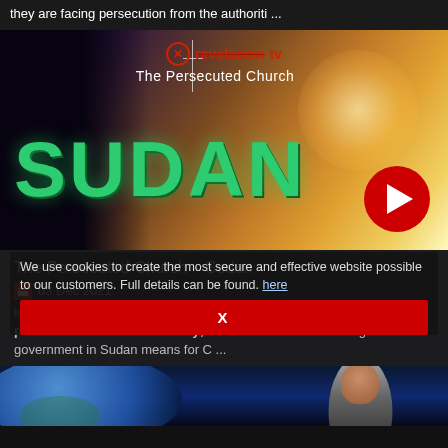they are facing persecution from the authoriti ...
[Figure (screenshot): Video thumbnail for 'The Persecuted Church – Sudan' showing the word SUDAN in large green letters over a dramatic background, with a Revelacion TV logo at top and a red play button in the bottom right corner.]
The Persecuted Church – Sudan
03 Dec 2021
In this December's The Persecuted Church a young man on his way to prison in Iran shares his story; we consider what a change of government in Sudan means for C ...
We use cookies to create the most secure and effective website possible to our customers. Full details can be found. here
X
[Figure (screenshot): Partial bottom thumbnail showing a globe/earth from space on the left and a person with head covering on the right.]